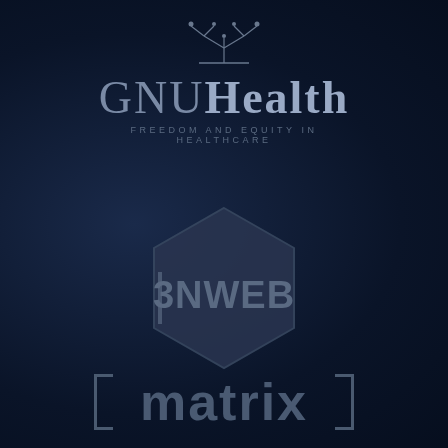[Figure (logo): GNUHealth logo with stylized tree/people icon above the text 'GNUHealth' and tagline 'FREEDOM AND EQUITY IN HEALTHCARE']
[Figure (logo): 3NWEB logo with hexagon shape behind the text '3NWEB']
[Figure (logo): [matrix] logo with the word 'matrix' inside square bracket delimiters]